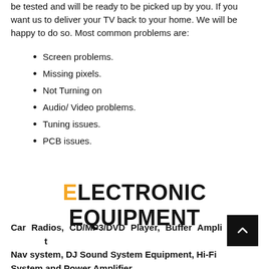be tested and will be ready to be picked up by you. If you want us to deliver your TV back to your home. We will be happy to do so. Most common problems are:
Screen problems.
Missing pixels.
Not Turning on
Audio/ Video problems.
Tuning issues.
PCB issues.
ELECTRONIC EQUIPMENT
Car Radios, CD/MP3/DVD Player, Buffer Amplifier, Nav system, DJ Sound System Equipment, Hi-Fi System and Power Amplifier.